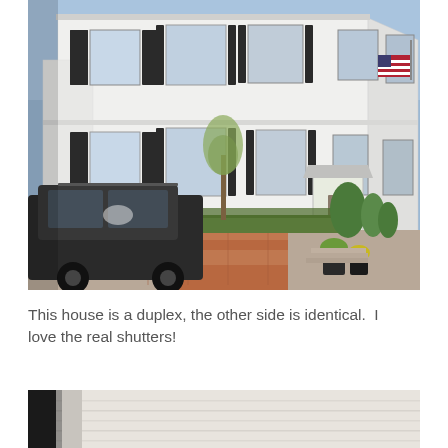[Figure (photo): Exterior photo of a white two-story duplex house with black shutters on all windows, a brick walkway, gravel driveway, parked dark SUV on the left, young tree in center, shrubs and potted plants near entrance on right, American flag visible on upper right, blue sky background.]
This house is a duplex, the other side is identical.  I love the real shutters!
[Figure (photo): Close-up photo of white painted wooden siding with a dark vertical element (shutter or window edge) on the left side. Partial view cropped at bottom of page.]